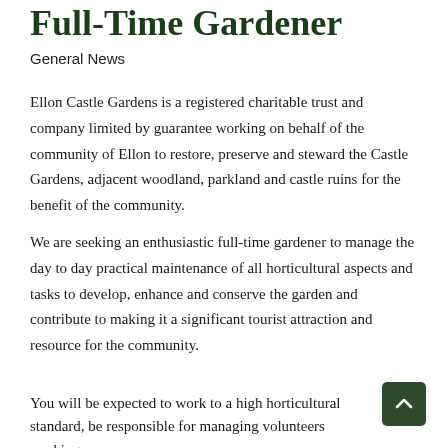Full-Time Gardener
General News
Ellon Castle Gardens is a registered charitable trust and company limited by guarantee working on behalf of the community of Ellon to restore, preserve and steward the Castle Gardens, adjacent woodland, parkland and castle ruins for the benefit of the community.
We are seeking an enthusiastic full-time gardener to manage the day to day practical maintenance of all horticultural aspects and tasks to develop, enhance and conserve the garden and contribute to making it a significant tourist attraction and resource for the community.
You will be expected to work to a high horticultural standard, be responsible for managing volunteers working